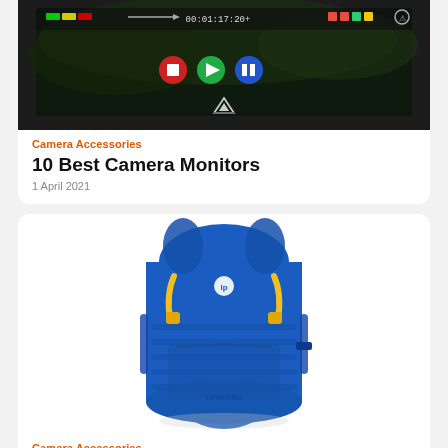[Figure (photo): Partial view of a camera monitor with dark screen showing timecode and playback controls]
Camera Accessories
10 Best Camera Monitors
1 April 2021
[Figure (photo): Blue Lowepro camera backpack with yellow accents on white background]
Camera Accessories
10 Best Camera Bags For Travel